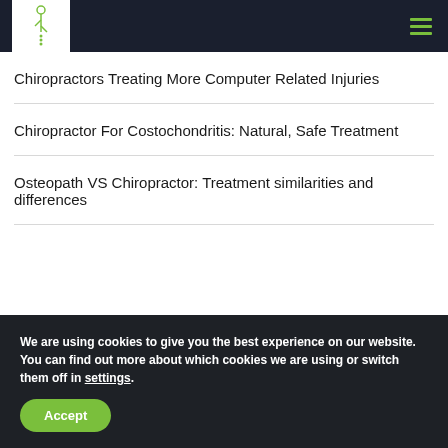Navigation bar with logo and hamburger menu
Chiropractors Treating More Computer Related Injuries
Chiropractor For Costochondritis: Natural, Safe Treatment
Osteopath VS Chiropractor: Treatment similarities and differences
We are using cookies to give you the best experience on our website.
You can find out more about which cookies we are using or switch them off in settings.
Accept